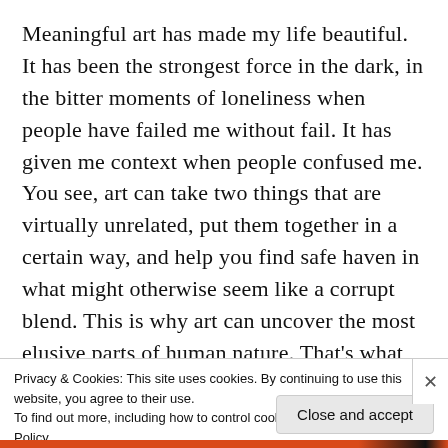Meaningful art has made my life beautiful. It has been the strongest force in the dark, in the bitter moments of loneliness when people have failed me without fail. It has given me context when people confused me. You see, art can take two things that are virtually unrelated, put them together in a certain way, and help you find safe haven in what might otherwise seem like a corrupt blend. This is why art can uncover the most elusive parts of human nature. That's what makes it meaningful. It turns artists into
Privacy & Cookies: This site uses cookies. By continuing to use this website, you agree to their use.
To find out more, including how to control cookies, see here: Cookie Policy
Close and accept